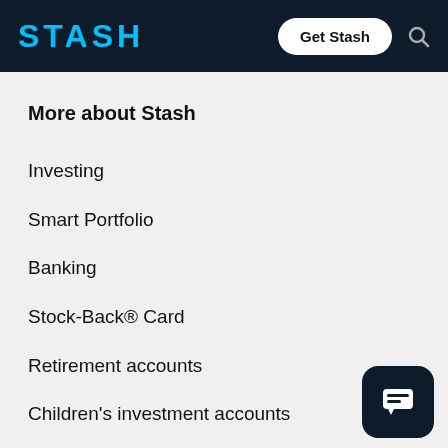STASH | Get Stash
More about Stash
Investing
Smart Portfolio
Banking
Stock-Back® Card
Retirement accounts
Children's investment accounts